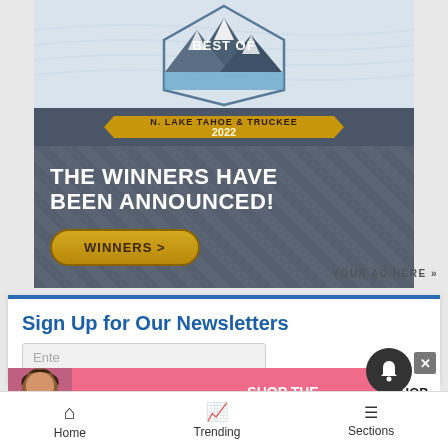[Figure (advertisement): Best of N. Lake Tahoe & Truckee 2022 advertisement banner with mountain graphic, text 'THE WINNERS HAVE BEEN ANNOUNCED!' and a WINNERS button]
YOUR AD HERE »
Sign Up for Our Newsletters
Enter
[Figure (advertisement): Victoria's Secret advertisement banner with model, logo, 'SHOP THE COLLECTION' text and 'SHOP NOW' button]
Home   Trending   Sections